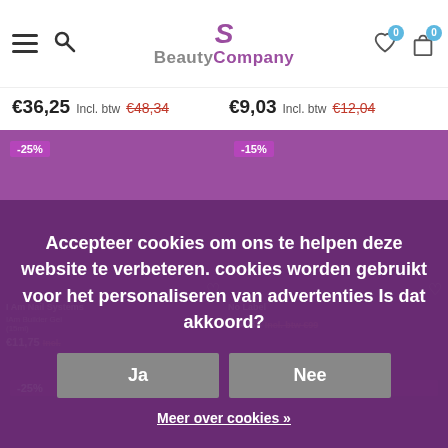BeautyCompany website header with navigation icons (hamburger menu, search, wishlist 0, cart 0)
€36,25 Incl. btw €48,34   €9,03 Incl. btw €12,04
[Figure (screenshot): Product listing page of BeautyCompany webshop showing nail products on purple background with discount badges (-25%, -15%) and product details partially visible]
Accepteer cookies om ons te helpen deze website te verbeteren. cookies worden gebruikt voor het personaliseren van advertenties Is dat akkoord?
Ja
Nee
Meer over cookies »